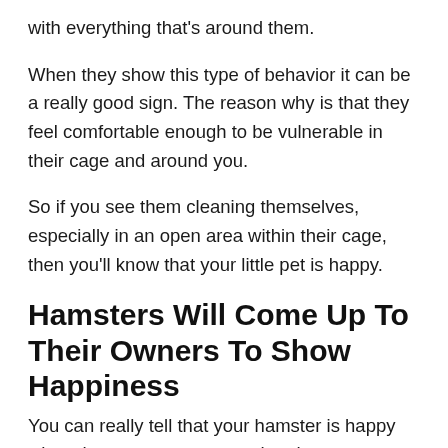with everything that's around them.
When they show this type of behavior it can be a really good sign. The reason why is that they feel comfortable enough to be vulnerable in their cage and around you.
So if you see them cleaning themselves, especially in an open area within their cage, then you'll know that your little pet is happy.
Hamsters Will Come Up To Their Owners To Show Happiness
You can really tell that your hamster is happy when they run up to you so that they can interact with you.